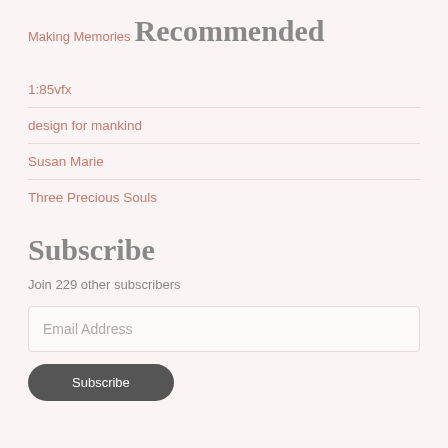Making Memories
Recommended
1:85vfx
design for mankind
Susan Marie
Three Precious Souls
Subscribe
Join 229 other subscribers
Email Address